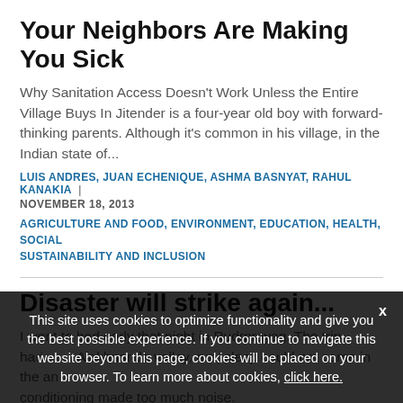Your Neighbors Are Making You Sick
Why Sanitation Access Doesn't Work Unless the Entire Village Buys In Jitender is a four-year old boy with forward-thinking parents. Although it's common in his village, in the Indian state of...
LUIS ANDRES, JUAN ECHENIQUE, ASHMA BASNYAT, RAHUL KANAKIA | NOVEMBER 18, 2013
AGRICULTURE AND FOOD, ENVIRONMENT, EDUCATION, HEALTH, SOCIAL SUSTAINABILITY AND INCLUSION
Disaster will strike again...
I went to bed early that night in Rudrprayag. The trip ha... Alakhnanda valley, run, sleep could not come in the an conditioning made too much noise.
ONNO RUHL | NOVEMBER 07, 2013
This site uses cookies to optimize functionality and give you the best possible experience. If you continue to navigate this website beyond this page, cookies will be placed on your browser. To learn more about cookies, click here.